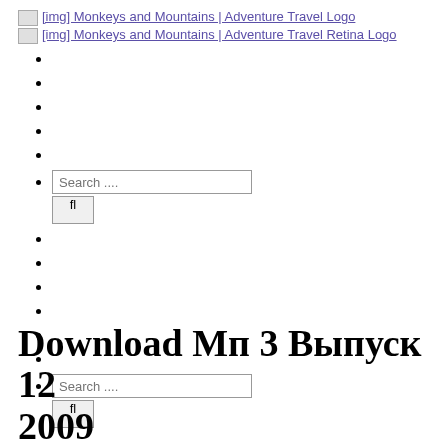[Figure (logo): Monkeys and Mountains | Adventure Travel Logo - broken image placeholder with link text]
[Figure (logo): Monkeys and Mountains | Adventure Travel Retina Logo - broken image placeholder with link text]
Search ... [search box with fl button]
Search ... [search box with fl button]
Download Мп 3 Выпуск 12 2009